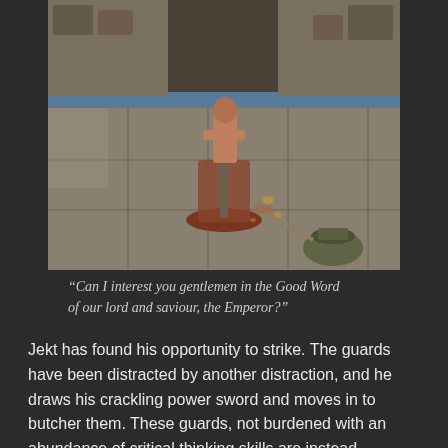[Figure (photo): Top-down view of tabletop miniature wargame scene showing painted miniature figures on a tiled terrain board. One shirtless muscular figure stands on a raised platform in the center, while another camouflaged figure with a weapon approaches from the lower right.]
“Can I interest you gentlemen in the Good Word of our lord and saviour, the Emperor?”
Jekt has found his opportunity to strike. The guards have been distracted by another distraction, and he draws his crackling power sword and moves in to butcher them. These guards, not burdened with an abundance of critical thinking skills are instead apparently expert swordsmen, and avoid all the incoming attacks from the Inquisitor and the gunfighter.